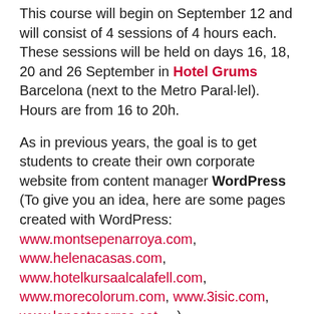This course will begin on September 12 and will consist of 4 sessions of 4 hours each. These sessions will be held on days 16, 18, 20 and 26 September in Hotel Grums Barcelona (next to the Metro Paral·lel). Hours are from 16 to 20h.
As in previous years, the goal is to get students to create their own corporate website from content manager WordPress (To give you an idea, here are some pages created with WordPress: www.montsepenarroya.com, www.helenacasas.com, www.hotelkursaalcalafell.com, www.morecolorum.com, www.3isic.com, www.lonostrearros.cat, ...)
The website that each student will create perfectly indexed on search engines (explain the SEO for WordPress), contain codes Google Analytics so